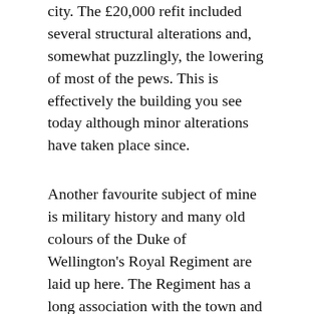city. The £20,000 refit included several structural alterations and, somewhat puzzlingly, the lowering of most of the pews. This is effectively the building you see today although minor alterations have taken place since.
Another favourite subject of mine is military history and many old colours of the Duke of Wellington's Royal Regiment are laid up here. The Regiment has a long association with the town and the excellent Regimental Museum will be dealt with in a future entry in this little series.
Another feature of interest is the organ which was originally built in 1766 by John Snetzler...